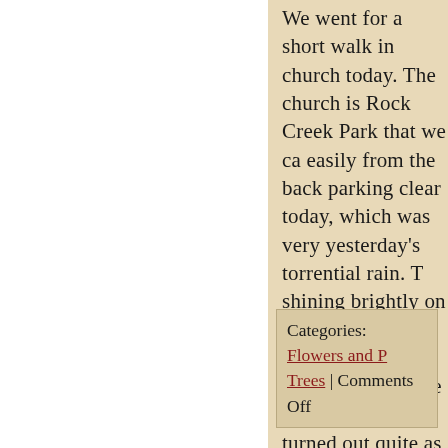We went for a short walk in church today. The church is Rock Creek Park that we ca easily from the back parking clear today, which was very yesterday's torrential rain. T shining brightly on some Ja (Acer palmatum) leaves ano pictures of the back-lit leav turned out quite as well as I but this one is pretty nice. I colors and the contrast betw the blue from the sky, filteri trunks of the trees.
Categories: Flowers and P Trees | Comments Off